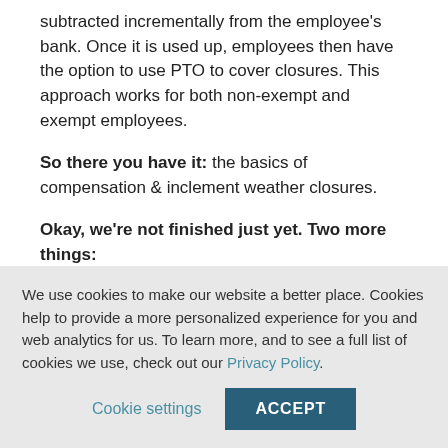subtracted incrementally from the employee's bank. Once it is used up, employees then have the option to use PTO to cover closures. This approach works for both non-exempt and exempt employees.
So there you have it: the basics of compensation & inclement weather closures.
Okay, we're not finished just yet. Two more things:
First, remember this is simply a guideline, not legal
We use cookies to make our website a better place. Cookies help to provide a more personalized experience for you and web analytics for us. To learn more, and to see a full list of cookies we use, check out our Privacy Policy.
Cookie settings   ACCEPT